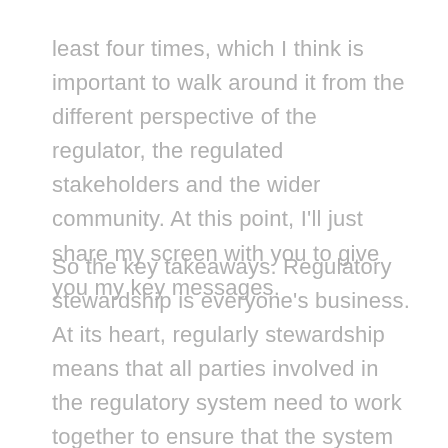least four times, which I think is important to walk around it from the different perspective of the regulator, the regulated stakeholders and the wider community. At this point, I'll just share my screen with you to give you my key messages.
So the key takeaways. Regulatory stewardship is everyone's business. At its heart, regularly stewardship means that all parties involved in the regulatory system need to work together to ensure that the system remains fit for purpose today, tomorrow and into the future.